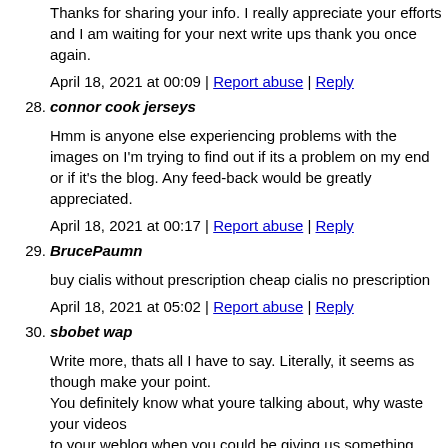Thanks for sharing your info. I really appreciate your efforts and I am waiting for your next write ups thank you once again.
April 18, 2021 at 00:09 | Report abuse | Reply
28. connor cook jerseys
Hmm is anyone else experiencing problems with the images on I'm trying to find out if its a problem on my end or if it's the blog. Any feed-back would be greatly appreciated.
April 18, 2021 at 00:17 | Report abuse | Reply
29. BrucePaumn
buy cialis without prescription cheap cialis no prescription
April 18, 2021 at 05:02 | Report abuse | Reply
30. sbobet wap
Write more, thats all I have to say. Literally, it seems as though make your point.
You definitely know what youre talking about, why waste your videos
to your weblog when you could be giving us something inform